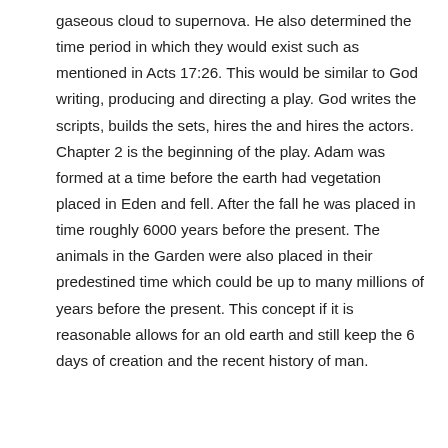gaseous cloud to supernova. He also determined the time period in which they would exist such as mentioned in Acts 17:26. This would be similar to God writing, producing and directing a play. God writes the scripts, builds the sets, hires the and hires the actors. Chapter 2 is the beginning of the play. Adam was formed at a time before the earth had vegetation placed in Eden and fell. After the fall he was placed in time roughly 6000 years before the present. The animals in the Garden were also placed in their predestined time which could be up to many millions of years before the present. This concept if it is reasonable allows for an old earth and still keep the 6 days of creation and the recent history of man.